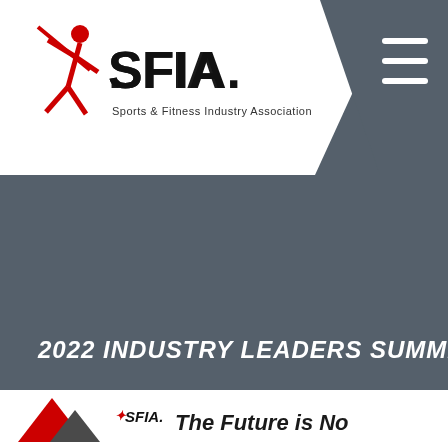[Figure (logo): SFIA Sports & Fitness Industry Association logo with red figure and black SFIA text, on white background with dark gray angled banner]
2022 INDUSTRY LEADERS SUMMIT
[Figure (logo): Bottom section showing SFIA logo and partial text 'The Future is No...' on white background]